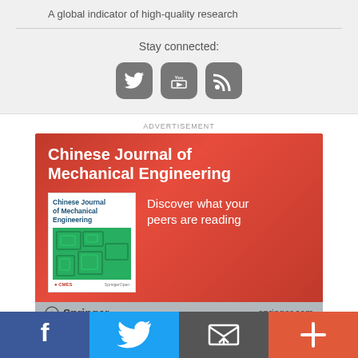A global indicator of high-quality research
Stay connected:
[Figure (infographic): Three social media icon buttons: Twitter bird, YouTube, and RSS feed icons in rounded square grey buttons]
ADVERTISEMENT
[Figure (illustration): Advertisement banner for Chinese Journal of Mechanical Engineering by Springer. Red background with white text title, journal book cover image on left, text 'Discover what your peers are reading' on right, Springer logo and springer.com in grey footer bar.]
[Figure (infographic): Bottom navigation bar with four buttons: Facebook (blue), Twitter (light blue), Email/share (dark grey), and More/plus (orange-red)]